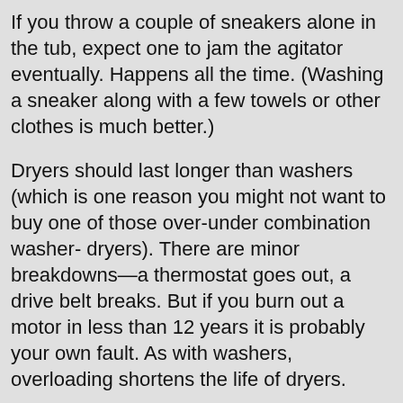If you throw a couple of sneakers alone in the tub, expect one to jam the agitator eventually. Happens all the time. (Washing a sneaker along with a few towels or other clothes is much better.)
Dryers should last longer than washers (which is one reason you might not want to buy one of those over-under combination washer- dryers). There are minor breakdowns—a thermostat goes out, a drive belt breaks. But if you burn out a motor in less than 12 years it is probably your own fault. As with washers, overloading shortens the life of dryers.